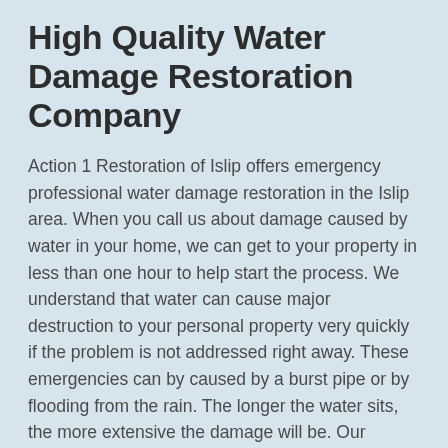High Quality Water Damage Restoration Company
Action 1 Restoration of Islip offers emergency professional water damage restoration in the Islip area. When you call us about damage caused by water in your home, we can get to your property in less than one hour to help start the process. We understand that water can cause major destruction to your personal property very quickly if the problem is not addressed right away. These emergencies can by caused by a burst pipe or by flooding from the rain. The longer the water sits, the more extensive the damage will be. Our restoration experts in the Islip area have extensive experience mitigating water damage using the latest technology and modern equipment. Our goal is to minimize damage that water can cause and restore your home back to its original state. The Action 1 team is on call 24 hours a